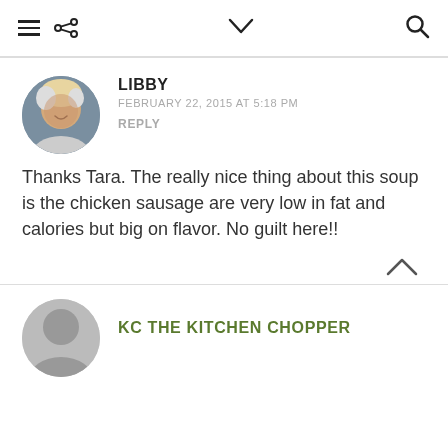≡ ⋖ ∨ Q
LIBBY
FEBRUARY 22, 2015 AT 5:18 PM
REPLY
Thanks Tara. The really nice thing about this soup is the chicken sausage are very low in fat and calories but big on flavor. No guilt here!!
KC THE KITCHEN CHOPPER